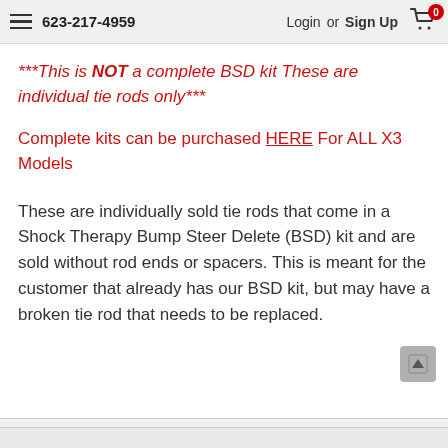623-217-4959   Login or Sign Up
***This is NOT a complete BSD kit These are individual tie rods only***
Complete kits can be purchased HERE For ALL X3 Models
These are individually sold tie rods that come in a Shock Therapy Bump Steer Delete (BSD) kit and are sold without rod ends or spacers. This is meant for the customer that already has our BSD kit, but may have a broken tie rod that needs to be replaced.